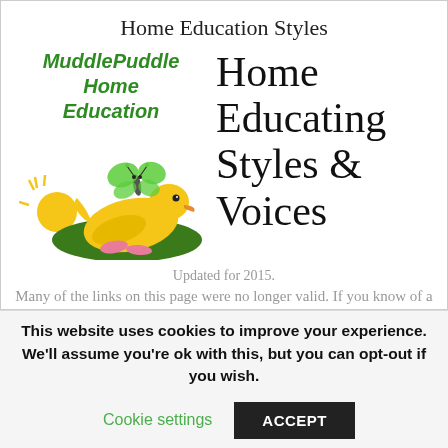Home Education Styles
[Figure (logo): MuddlePuddle Home Education logo with italic green bold text and a cartoon duck lying on grass with a butterfly and sun illustration]
Home Educating Styles & Voices
Updated for 2015. Many of the links on this page were no longer valid. If you know of a website (not for profit) that would benefit this page, please do email it in to me via the Contact
This website uses cookies to improve your experience. We'll assume you're ok with this, but you can opt-out if you wish.
Cookie settings    ACCEPT